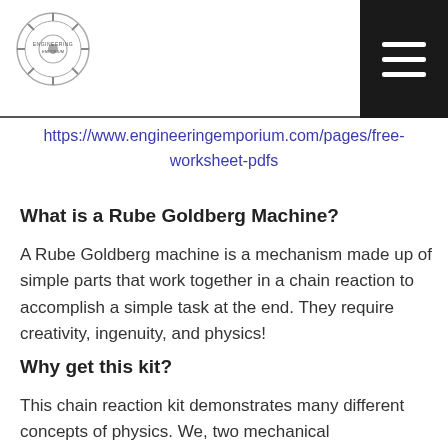[Figure (logo): Engineering Emporium gear/cog logo with circular text]
https://www.engineeringemporium.com/pages/free-worksheet-pdfs
What is a Rube Goldberg Machine?
A Rube Goldberg machine is a mechanism made up of simple parts that work together in a chain reaction to accomplish a simple task at the end. They require creativity, ingenuity, and physics!
Why get this kit?
This chain reaction kit demonstrates many different concepts of physics. We, two mechanical